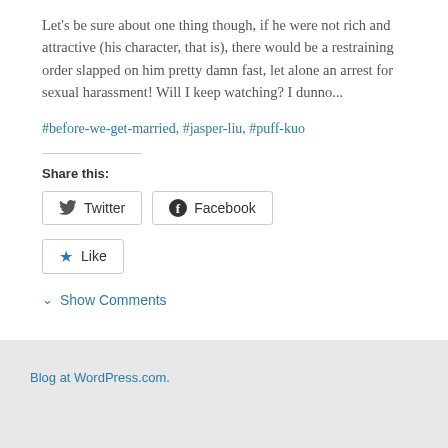Let's be sure about one thing though, if he were not rich and attractive (his character, that is), there would be a restraining order slapped on him pretty damn fast, let alone an arrest for sexual harassment! Will I keep watching? I dunno...
#before-we-get-married, #jasper-liu, #puff-kuo
Share this:
[Figure (screenshot): Twitter and Facebook share buttons]
[Figure (screenshot): Like button with star icon]
Show Comments
Blog at WordPress.com.